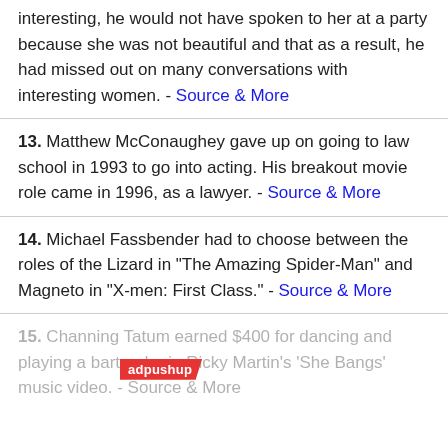interesting, he would not have spoken to her at a party because she was not beautiful and that as a result, he had missed out on many conversations with interesting women. - Source & More
13. Matthew McConaughey gave up on going to law school in 1993 to go into acting. His breakout movie role came in 1996, as a lawyer. - Source & More
14. Michael Fassbender had to choose between the roles of the Lizard in "The Amazing Spider-Man" and Magneto in "X-men: First Class." - Source & More
15. Channing Tatum earned $400 for dancing and playing a bartender in Ricky Martin's 'She Bangs' music video. - Source & More